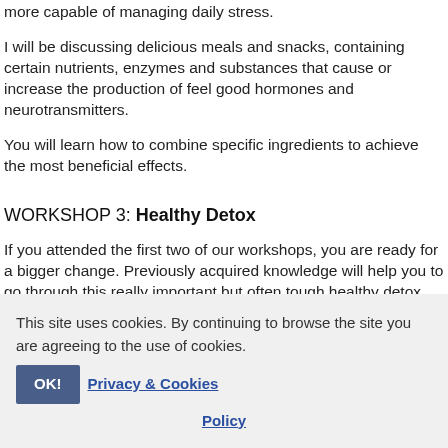more capable of managing daily stress.
I will be discussing delicious meals and snacks, containing certain nutrients, enzymes and substances that cause or increase the production of feel good hormones and neurotransmitters.
You will learn how to combine specific ingredients to achieve the most beneficial effects.
WORKSHOP 3: Healthy Detox
If you attended the first two of our workshops, you are ready for a bigger change. Previously acquired knowledge will help you to go through this really important but often tough healthy detox diet.
This site uses cookies. By continuing to browse the site you are agreeing to the use of cookies.  OK!  Privacy & Cookies Policy